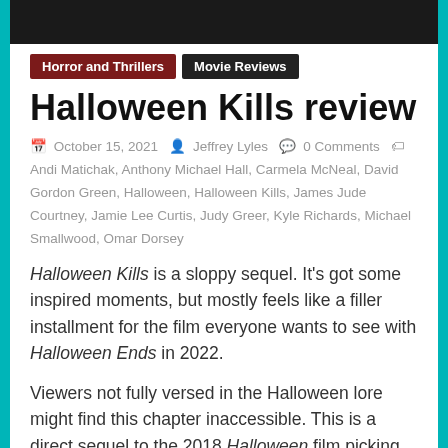[Figure (photo): Dark movie still or banner image at the top of the page]
Horror and Thrillers
Movie Reviews
Halloween Kills review
October 15, 2021   Jeffrey Lyles   0 Comments   Andi Matichak, Anthony Michael Hall, Carmela McNeal, David Gordon Green, Halloween, Halloween Kills, James Jude Courtney, Jamie Lee Curtis, Judy Greer, Kyle Richards, Michael Smallwood, Omar Dorsey
Halloween Kills is a sloppy sequel. It’s got some inspired moments, but mostly feels like a filler installment for the film everyone wants to see with Halloween Ends in 2022.
Viewers not fully versed in the Halloween lore might find this chapter inaccessible. This is a direct sequel to the 2018 Halloween film picking up